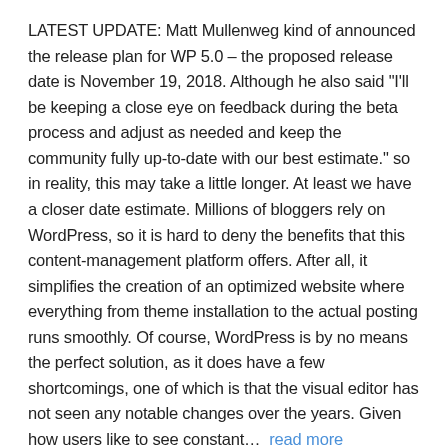LATEST UPDATE: Matt Mullenweg kind of announced the release plan for WP 5.0 – the proposed release date is November 19, 2018. Although he also said "I'll be keeping a close eye on feedback during the beta process and adjust as needed and keep the community fully up-to-date with our best estimate." so in reality, this may take a little longer. At least we have a closer date estimate. Millions of bloggers rely on WordPress, so it is hard to deny the benefits that this content-management platform offers. After all, it simplifies the creation of an optimized website where everything from theme installation to the actual posting runs smoothly. Of course, WordPress is by no means the perfect solution, as it does have a few shortcomings, one of which is that the visual editor has not seen any notable changes over the years. Given how users like to see constant…  read more